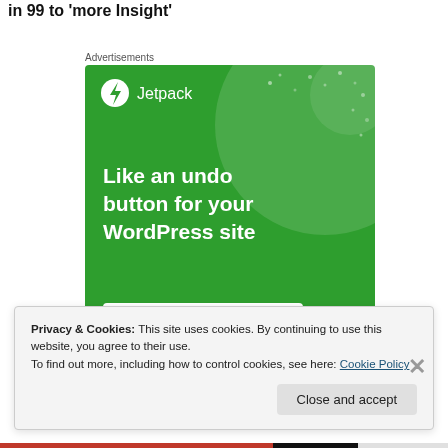in 99 to 'more Insight'
Advertisements
[Figure (illustration): Jetpack advertisement banner with green background. Shows Jetpack logo (lightning bolt in circle) and text 'Like an undo button for your WordPress site' with a 'Back up your site' button.]
Privacy & Cookies: This site uses cookies. By continuing to use this website, you agree to their use.
To find out more, including how to control cookies, see here: Cookie Policy
Close and accept